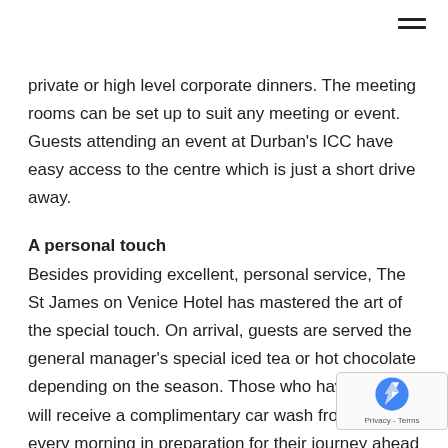private or high level corporate dinners. The meeting rooms can be set up to suit any meeting or event. Guests attending an event at Durban's ICC have easy access to the centre which is just a short drive away.
A personal touch
Besides providing excellent, personal service, The St James on Venice Hotel has mastered the art of the special touch. On arrival, guests are served the general manager's special iced tea or hot chocolate depending on the season. Those who have driven will receive a complimentary car wash from Thulani every morning in preparation for their journey ahead (with a little flower picked from the garden on their windscreen). Guests will receive freshly baked biscuit their room every day with their morning coffee. And e